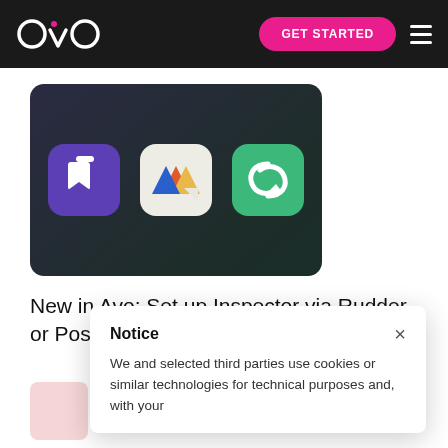Avo — GET STARTED
[Figure (screenshot): Dark rounded card showing three app icons: a purple icon with a bookmark/flag symbol, a light/white icon with colorful diagonal stripes (Notion-like), and a green icon with a circular arrow/refresh symbol.]
New in Avo: Set up Inspector via Rudder or PostHog, clickable changes & more!
Notice
We and selected third parties use cookies or similar technologies for technical purposes and, with your